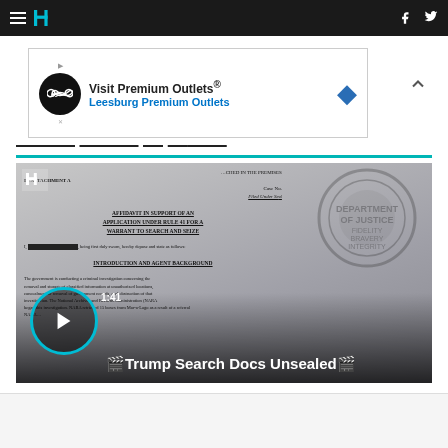HuffPost navigation bar with hamburger menu, logo, facebook and twitter icons
[Figure (screenshot): Advertisement banner for Visit Premium Outlets® Leesburg Premium Outlets with infinity symbol logo and blue diamond icon]
[Figure (screenshot): Video thumbnail showing partially visible legal document (AFFIDAVIT IN SUPPORT OF AN APPLICATION UNDER RULE 41 FOR A WARRANT TO SEARCH AND SEIZE, INTRODUCTION AND AGENT BACKGROUND sections visible) overlaid on FBI seal background, with play button and caption reading Trump Search Docs Unsealed, duration 1:41]